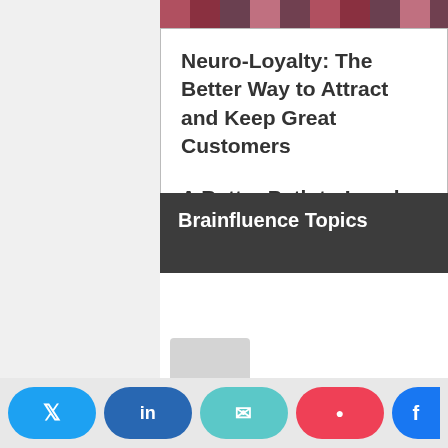[Figure (photo): Partial top image strip showing what appears to be a bar or restaurant scene]
Neuro-Loyalty: The Better Way to Attract and Keep Great Customers
A Better Path to Loyal Customers & Engaged Employees
Learn more
Brainfluence Topics
[Figure (photo): Partial image visible at bottom of Brainfluence Topics section]
Social sharing buttons: Twitter, LinkedIn, Email, Pocket, Facebook